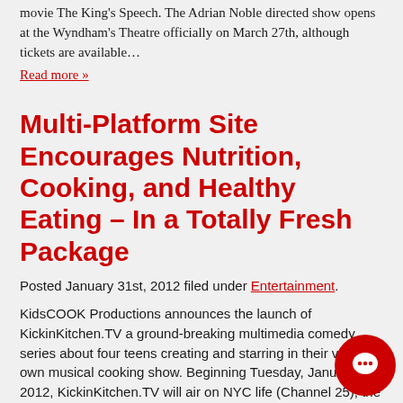movie The King's Speech. The Adrian Noble directed show opens at the Wyndham's Theatre officially on March 27th, although tickets are available…
Read more »
Multi-Platform Site Encourages Nutrition, Cooking, and Healthy Eating – In a Totally Fresh Package
Posted January 31st, 2012 filed under Entertainment.
KidsCOOK Productions announces the launch of KickinKitchen.TV a ground-breaking multimedia comedy series about four teens creating and starring in their very own musical cooking show. Beginning Tuesday, January 31, 2012, KickinKitchen.TV will air on NYC life (Channel 25), the first station of the official network of the City of New York, and will also run…